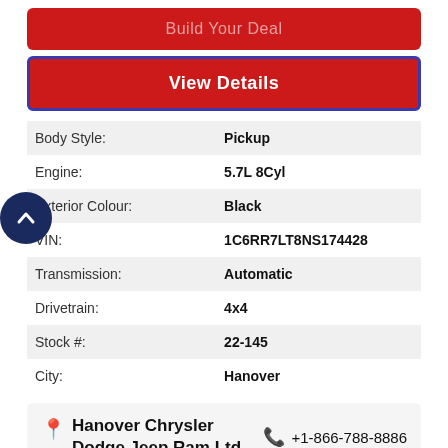Build Your Deal
View Details
| Label | Value |
| --- | --- |
| Body Style: | Pickup |
| Engine: | 5.7L 8Cyl |
| Exterior Colour: | Black |
| VIN: | 1C6RR7LT8NS174428 |
| Transmission: | Automatic |
| Drivetrain: | 4x4 |
| Stock #: | 22-145 |
| City: | Hanover |
Hanover Chrysler Dodge Jeep Ram Ltd   +1-866-788-8886
Sale price is just plus HST and licensing. Please contact a sales representative for further details. Finance rates from 36-96 Months at 3.99% APR. Payment above is calculated using 4.99% Including all taxes just plus